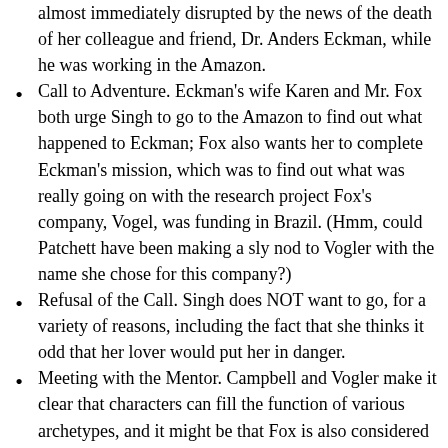almost immediately disrupted by the news of the death of her colleague and friend, Dr. Anders Eckman, while he was working in the Amazon.
Call to Adventure. Eckman's wife Karen and Mr. Fox both urge Singh to go to the Amazon to find out what happened to Eckman; Fox also wants her to complete Eckman's mission, which was to find out what was really going on with the research project Fox's company, Vogel, was funding in Brazil. (Hmm, could Patchett have been making a sly nod to Vogler with the name she chose for this company?)
Refusal of the Call. Singh does NOT want to go, for a variety of reasons, including the fact that she thinks it odd that her lover would put her in danger.
Meeting with the Mentor. Campbell and Vogler make it clear that characters can fill the function of various archetypes, and it might be that Fox is also considered Singh's mentor. Or maybe the mentor is Eckman, who is absent; she does recall various conversations she has